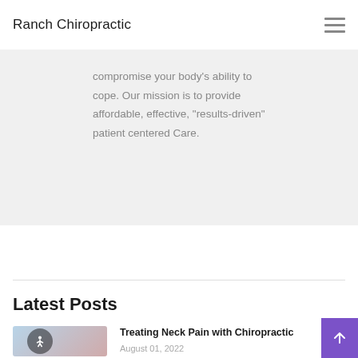Ranch Chiropractic
compromise your body’s ability to cope. Our mission is to provide affordable, effective, “results-driven” patient centered Care.
Latest Posts
[Figure (photo): Thumbnail image of a man holding his neck in pain with an accessibility icon overlay]
Treating Neck Pain with Chiropractic
August 01, 2022